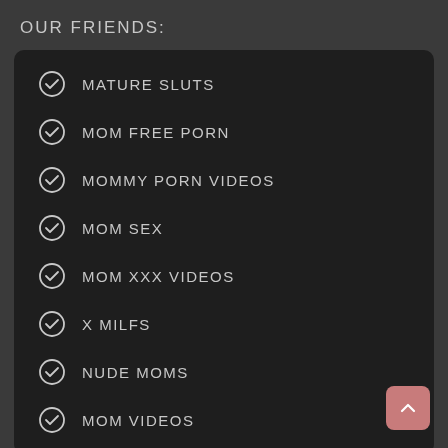OUR FRIENDS:
MATURE SLUTS
MOM FREE PORN
MOMMY PORN VIDEOS
MOM SEX
MOM XXX VIDEOS
X MILFS
NUDE MOMS
MOM VIDEOS